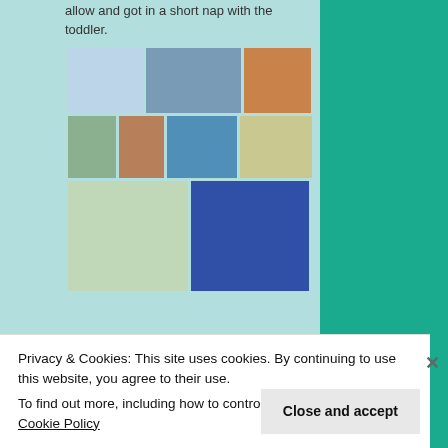allow and got in a short nap with the toddler.
[Figure (photo): A collage of photos arranged in three rows: top row has three photos (an RV/brochure, a parking lot, a market scene); middle row has four photos (people at an indoor event, a man sitting, a woman with child, someone holding a product); bottom row has two photos (a vendor table with plants and a hand holding a glass, a blue booth labeled ZENCHARTZ with people).]
Privacy & Cookies: This site uses cookies. By continuing to use this website, you agree to their use.
To find out more, including how to control cookies, see here: Cookie Policy
Close and accept